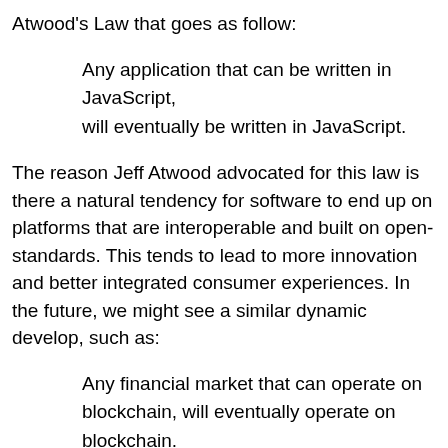Atwood's Law that goes as follow:
Any application that can be written in JavaScript, will eventually be written in JavaScript.
The reason Jeff Atwood advocated for this law is there a natural tendency for software to end up on platforms that are interoperable and built on open-standards. This tends to lead to more innovation and better integrated consumer experiences. In the future, we might see a similar dynamic develop, such as:
Any financial market that can operate on blockchain, will eventually operate on blockchain.
It might take a very long time before we see the New York Stock Exchange operate on blockchain, just like we might